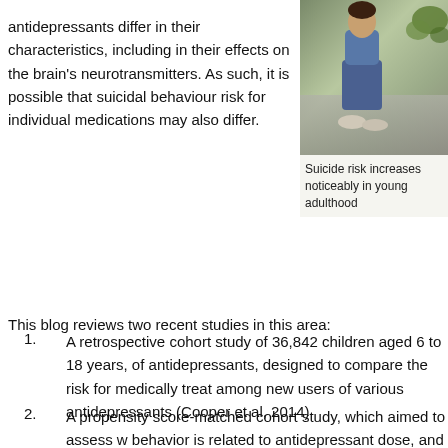antidepressants differ in their characteristics, including in their effects on the brain's neurotransmitters. As such, it is possible that suicidal behaviour risk for individual medications may also differ.
[Figure (photo): Photo of a young person sitting on the ground outdoors, wearing jeans and sneakers.]
Suicide risk increases noticeably in young adulthood
This blog reviews two recent studies in this area:
A retrospective cohort study of 36,842 children aged 6 to 18 years, of antidepressants, designed to compare the risk for medically treat among new users of various antidepressants (Cooper et al, 2014)
A propensity score-matched cohort study, which aimed to assess w behavior is related to antidepressant dose, and if so, whether risk d age (Miller et al, 2014)
Methods
Cooper et al
In order to investigate possible differences in antidepressants in risk of su